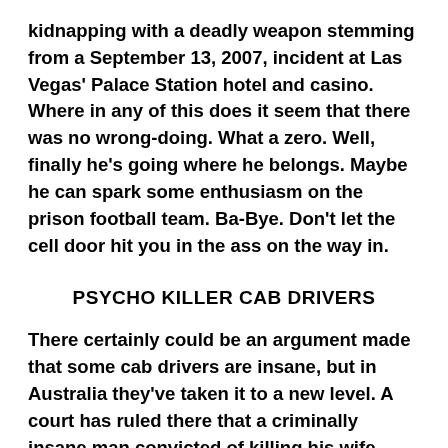kidnapping with a deadly weapon stemming from a September 13, 2007, incident at Las Vegas' Palace Station hotel and casino. Where in any of this does it seem that there was no wrong-doing. What a zero. Well, finally he's going where he belongs. Maybe he can spark some enthusiasm on the prison football team. Ba-Bye. Don't let the cell door hit you in the ass on the way in.
PSYCHO KILLER CAB DRIVERS
There certainly could be an argument made that some cab drivers are insane, but in Australia they've taken it to a new level. A court has ruled there that a criminally insane man convicted of killing his wife should be allowed drive a taxi. The man killed his wife, but